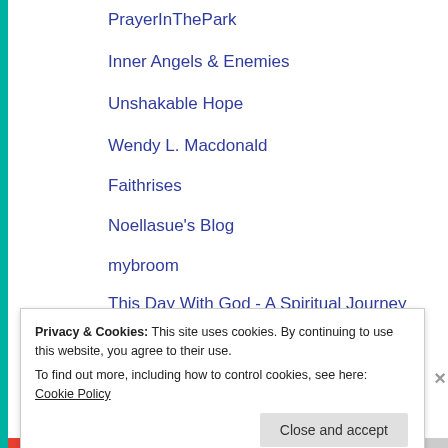PrayerInThePark
Inner Angels & Enemies
Unshakable Hope
Wendy L. Macdonald
Faithrises
Noellasue's Blog
mybroom
This Day With God - A Spiritual Journey
Biltrix
through Him with Him in Him...
Privacy & Cookies: This site uses cookies. By continuing to use this website, you agree to their use.
To find out more, including how to control cookies, see here: Cookie Policy
Close and accept